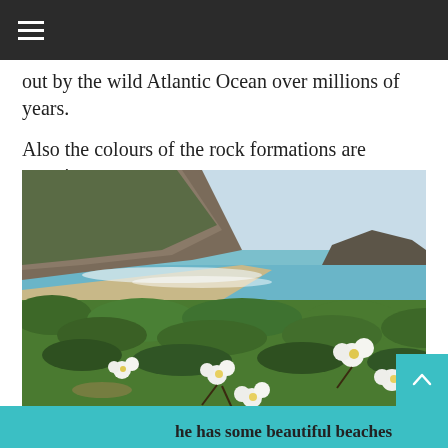≡ (hamburger menu icon)
out by the wild Atlantic Ocean over millions of years. Also the colours of the rock formations are amazing.
[Figure (photo): Coastal landscape showing wild Atlantic ocean cove with sandy beach, turquoise water, dramatic cliffs in the background, and white flowers on green shrubs in the foreground.]
he has some beautiful beaches